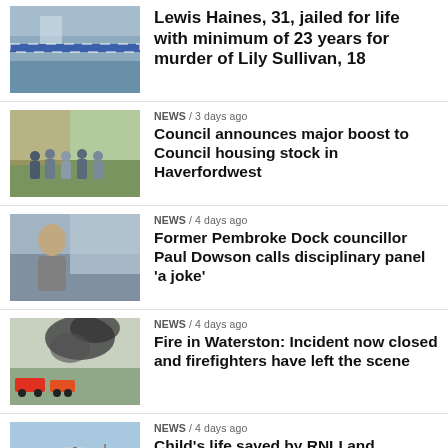[Figure (photo): Crime scene with police tape, blue and white stripes]
Lewis Haines, 31, jailed for life with minimum of 23 years for murder of Lily Sullivan, 18
[Figure (photo): Group of people standing outside a brick building]
NEWS / 3 days ago
Council announces major boost to Council housing stock in Haverfordwest
[Figure (photo): Bald man in grey jumper standing outdoors near water]
NEWS / 4 days ago
Former Pembroke Dock councillor Paul Dowson calls disciplinary panel 'a joke'
[Figure (photo): Fire scene with black smoke and fire engines]
NEWS / 4 days ago
Fire in Waterston: Incident now closed and firefighters have left the scene
[Figure (photo): Coastguard helicopter landing near water]
NEWS / 4 days ago
Child's life saved by RNLI and Coastguard joint-operation after kayaks capsized